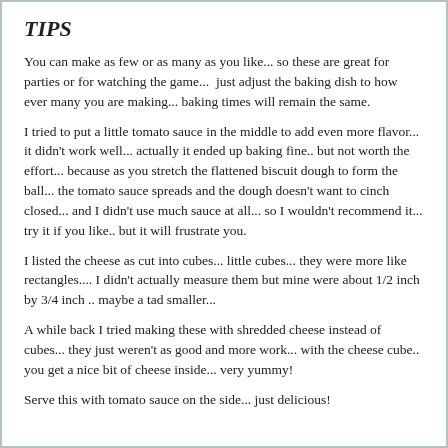TIPS
You can make as few or as many as you like... so these are great for parties or for watching the game...  just adjust the baking dish to how ever many you are making... baking times will remain the same.
I tried to put a little tomato sauce in the middle to add even more flavor... it didn't work well... actually it ended up baking fine.. but not worth the effort... because as you stretch the flattened biscuit dough to form the ball... the tomato sauce spreads and the dough doesn't want to cinch closed... and I didn't use much sauce at all... so I wouldn't recommend it... try it if you like.. but it will frustrate you.
I listed the cheese as cut into cubes... little cubes... they were more like rectangles.... I didn't actually measure them but mine were about 1/2 inch  by 3/4 inch .. maybe a tad smaller...
A while back I tried making these with shredded cheese instead of cubes... they just weren't as good and more work... with the cheese cube.. you get a nice bit of cheese inside... very yummy!
Serve this with tomato sauce on the side... just delicious!